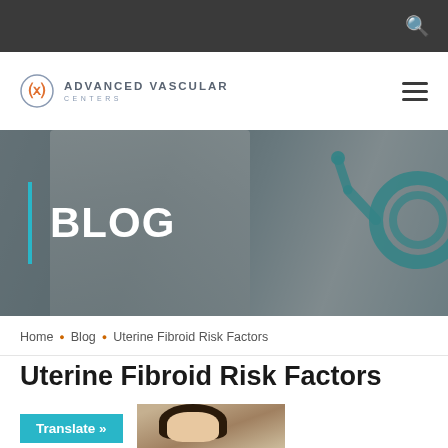Advanced Vascular Centers
[Figure (photo): Blog hero banner with doctor/medical professional in background, teal stethoscope visible on right side, overlaid with dark tint]
BLOG
Home • Blog • Uterine Fibroid Risk Factors
Uterine Fibroid Risk Factors
Translate »
[Figure (photo): Partial photo of a person (dark hair visible) at bottom right of page]